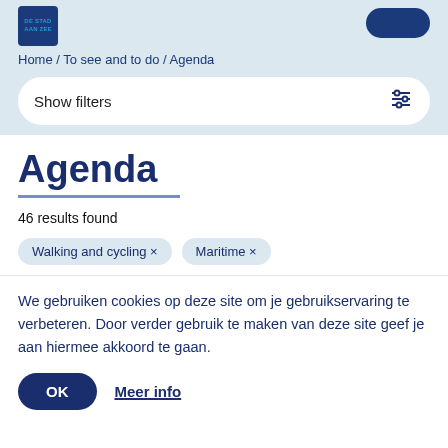[Figure (logo): Blue square logo with 'DE STAD AAN ZEE' text in cyan]
Home / To see and to do / Agenda
Show filters
Agenda
46 results found
Walking and cycling ×
Maritime ×
We gebruiken cookies op deze site om je gebruikservaring te verbeteren. Door verder gebruik te maken van deze site geef je aan hiermee akkoord te gaan.
OK
Meer info